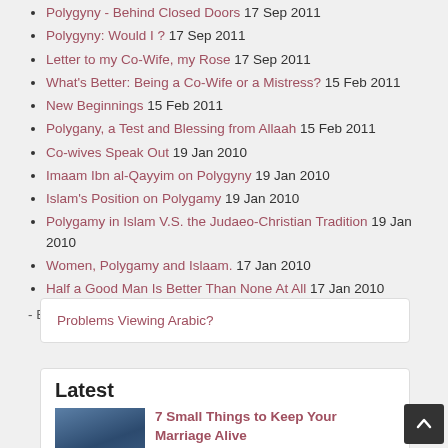Polygyny - Behind Closed Doors 17 Sep 2011
Polygyny: Would I ? 17 Sep 2011
Letter to my Co-Wife, my Rose 17 Sep 2011
What's Better: Being a Co-Wife or a Mistress? 15 Feb 2011
New Beginnings 15 Feb 2011
Polygany, a Test and Blessing from Allaah 15 Feb 2011
Co-wives Speak Out 19 Jan 2010
Imaam Ibn al-Qayyim on Polygyny 19 Jan 2010
Islam's Position on Polygamy 19 Jan 2010
Polygamy in Islam V.S. the Judaeo-Christian Tradition 19 Jan 2010
Women, Polygamy and Islaam. 17 Jan 2010
Half a Good Man Is Better Than None At All 17 Jan 2010
- Entire Category -
Problems Viewing Arabic?
Latest
7 Small Things to Keep Your Marriage Alive